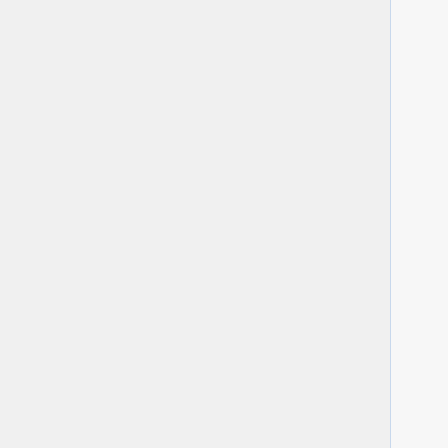2.55 set iter nuc
2.56 set keff
2.57 set lost
2.58 set maxsplit
2.59 set mbtch
2.60 set mcvol
2.61 set mdep
2.62 set micro
2.63 set memfrac
2.64 set minxs
2.65 set mvol
2.66 set nbuf
2.67 set nfg
2.68 set nfylib
2.69 set ngamma
2.70 set nphys
2.71 set nps
2.72 set opti
2.73 set outp
2.74 set pcc